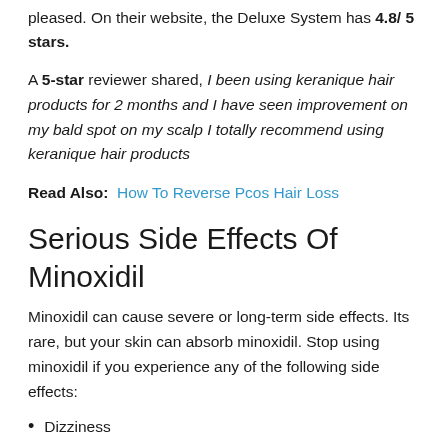pleased. On their website, the Deluxe System has 4.8/ 5 stars.
A 5-star reviewer shared, I been using keranique hair products for 2 months and I have seen improvement on my bald spot on my scalp I totally recommend using keranique hair products
Read Also: How To Reverse Pcos Hair Loss
Serious Side Effects Of Minoxidil
Minoxidil can cause severe or long-term side effects. Its rare, but your skin can absorb minoxidil. Stop using minoxidil if you experience any of the following side effects:
Dizziness